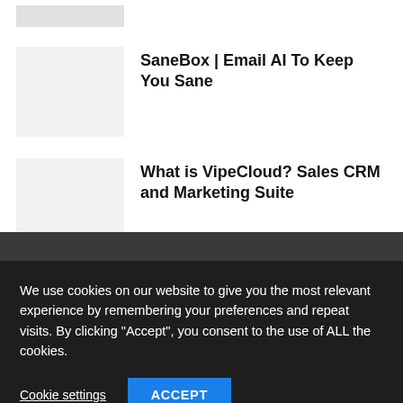[Figure (illustration): Partial thumbnail image stub at top, gray rectangle]
SaneBox | Email AI To Keep You Sane
What is VipeCloud? Sales CRM and Marketing Suite
We use cookies on our website to give you the most relevant experience by remembering your preferences and repeat visits. By clicking "Accept", you consent to the use of ALL the cookies.
Cookie settings
ACCEPT